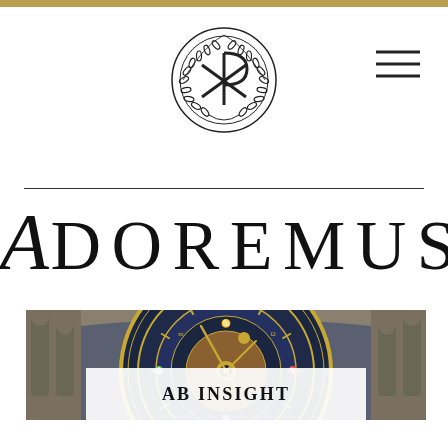[Figure (logo): Circular emblem with Chi-Rho symbol (ΧΡ / labarum) surrounded by laurel wreath, black on white]
ADOREMUS
[Figure (photo): Close-up photograph of the Prague Orloj (astronomical clock) showing the ornate blue and gold clock face with Roman numerals, zodiac symbols, and carved stone figures on either side]
AB INSIGHT